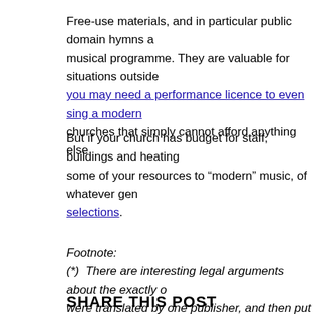Free-use materials, and in particular public domain hymns a... musical programme. They are valuable for situations outside you may need a performance licence to even sing a modern... churches that simply cannot afford anything else
But if your church has budget for staff, buildings and heating... some of your resources to "modern" music, of whatever gen... selections.
Footnote:
(*) There are interesting legal arguments about the exactly o... were translated by one publisher, and then put into verses b... time or energy to follow these:   they simply need worship re... about the legalities.
SHARE THIS POST